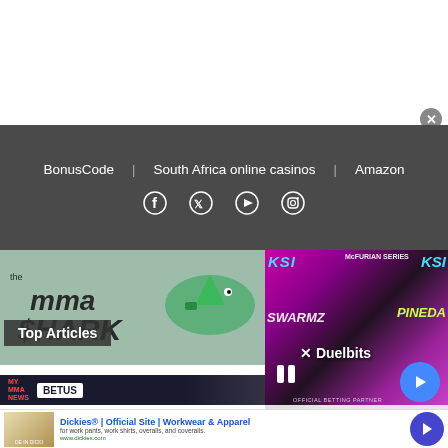[Figure (screenshot): White advertisement bar at the top of the page with a grey close (X) button in the bottom-right corner.]
BonusCode  |  South Africa online casinos  |  Amazon
[Figure (screenshot): Social media icons: Facebook, Twitter, YouTube, Instagram on a dark grey navigation bar.]
[Figure (logo): MMA Shark logo with shark illustration and text 'THE MMA SHARK - The World's #1 Single Sport Handicapper']
[Figure (screenshot): Top Articles button overlay on the MMA Shark website banner section.]
[Figure (screenshot): KSI vs Swarmz & Pineda video thumbnail with Duelbits branding, pause button, and blue arrow navigation button.]
[Figure (screenshot): MyMMA News BetUS advertisement banner strip.]
KSI vs. Swarmz & Pineda LIVE
[Figure (screenshot): Dickies advertisement banner: 'Dickies® | Official Site | Workwear & Apparel' with body text 'for work pants, work shirts, overalls, and coveralls.' and URL www.dickies.com]